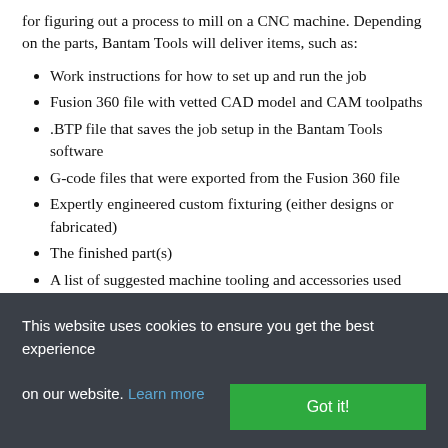for figuring out a process to mill on a CNC machine. Depending on the parts, Bantam Tools will deliver items, such as:
Work instructions for how to set up and run the job
Fusion 360 file with vetted CAD model and CAM toolpaths
.BTP file that saves the job setup in the Bantam Tools software
G-code files that were exported from the Fusion 360 file
Expertly engineered custom fixturing (either designs or fabricated)
The finished part(s)
A list of suggested machine tooling and accessories used
This website uses cookies to ensure you get the best experience on our website. Learn more